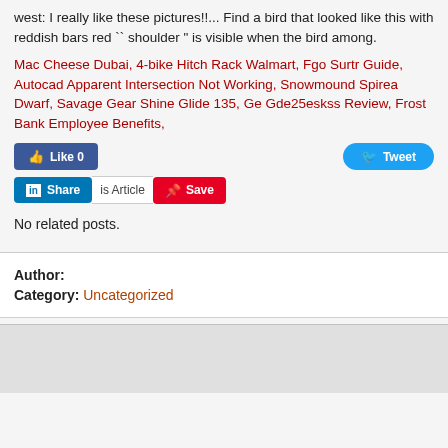west: I really like these pictures!!... Find a bird that looked like this with reddish bars red `` shoulder " is visible when the bird among.
Mac Cheese Dubai, 4-bike Hitch Rack Walmart, Fgo Surtr Guide, Autocad Apparent Intersection Not Working, Snowmound Spirea Dwarf, Savage Gear Shine Glide 135, Ge Gde25eskss Review, Frost Bank Employee Benefits,
[Figure (screenshot): Social sharing buttons: Facebook Like 0, Twitter Tweet, LinkedIn Share (with 'is Article' text), Pinterest Save]
No related posts.
Author:
Category: Uncategorized